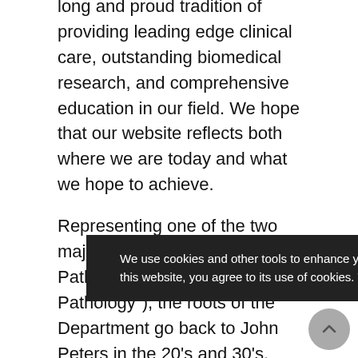long and proud tradition of providing leading edge clinical care, outstanding biomedical research, and comprehensive education in our field. We hope that our website reflects both where we are today and what we hope to achieve.
Representing one of the two major subdisciplines of Pathology (specifically "Clinical Pathology"), the roots of the Department go back to John Peters in the 20's and 30's, who worked tirelessly to bring quantitative chemical analysis to the elucidation of disease processes. That work, which... Metabolic Division of the Yale Department of Medicine, helped... the modern clinical laboratory, which, of course, has now become far
We use cookies and other tools to enhance your experience and analyze web trends. By using this website, you agree to its use of cookies. To learn more, please review our Privacy Policy